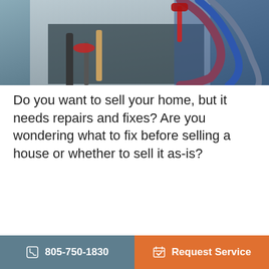[Figure (photo): Plumber holding red and blue flexible hoses, working under a sink with pipes visible]
Do you want to sell your home, but it needs repairs and fixes? Are you wondering what to fix before selling a house or whether to sell it as-is?
[Figure (screenshot): Chat widget overlay with avatar, greeting 'Welcome! How can we help you today?' and message input field with send button]
ou
ors, including your home's location, the
805-750-1830   Request Service